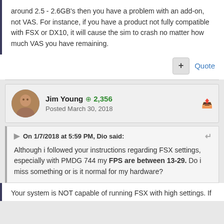around 2.5 - 2.6GB's then you have a problem with an add-on, not VAS.  For instance, if you have a product not fully compatible with FSX or DX10, it will cause the sim to crash no matter how much VAS you have remaining.
Jim Young ⊕ 2,356
Posted March 30, 2018
On 1/7/2018 at 5:59 PM, Dio said:
Although i followed your instructions regarding FSX settings, especially with PMDG 744 my FPS are between 13-29. Do i miss something or is it normal for my hardware?
Your system is NOT capable of running FSX with high settings.  If